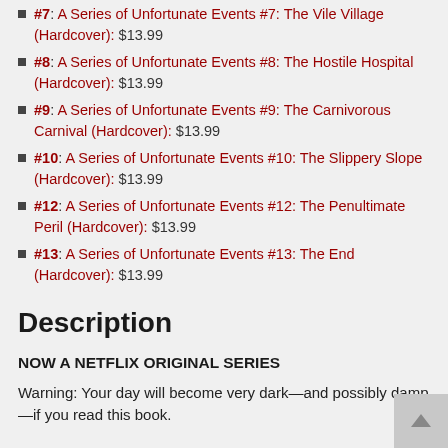#7: A Series of Unfortunate Events #7: The Vile Village (Hardcover): $13.99
#8: A Series of Unfortunate Events #8: The Hostile Hospital (Hardcover): $13.99
#9: A Series of Unfortunate Events #9: The Carnivorous Carnival (Hardcover): $13.99
#10: A Series of Unfortunate Events #10: The Slippery Slope (Hardcover): $13.99
#12: A Series of Unfortunate Events #12: The Penultimate Peril (Hardcover): $13.99
#13: A Series of Unfortunate Events #13: The End (Hardcover): $13.99
Description
NOW A NETFLIX ORIGINAL SERIES
Warning: Your day will become very dark—and possibly damp—if you read this book.